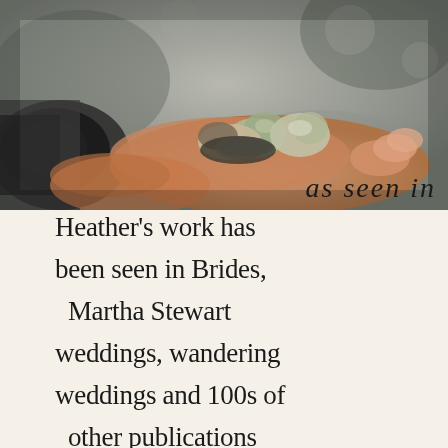[Figure (photo): A blurred outdoor photo of a hand holding sea shells and rocks with a camera lens visible on the left side. Background is blurred grey/green tones.]
as seen in
Heather's work has been seen in Brides, Martha Stewart weddings, wandering weddings and 100s of other publications